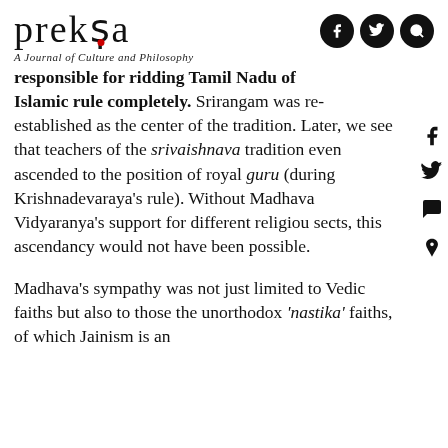prekṣa — A Journal of Culture and Philosophy
responsible for ridding Tamil Nadu of Islamic rule completely. Srirangam was re-established as the center of the tradition. Later, we see that teachers of the srivaishnava tradition even ascended to the position of royal guru (during Krishnadevaraya's rule). Without Madhava Vidyaranya's support for different religious sects, this ascendancy would not have been possible.
Madhava's sympathy was not just limited to Vedic faiths but also to those the unorthodox 'nastika' faiths, of which Jainism is an